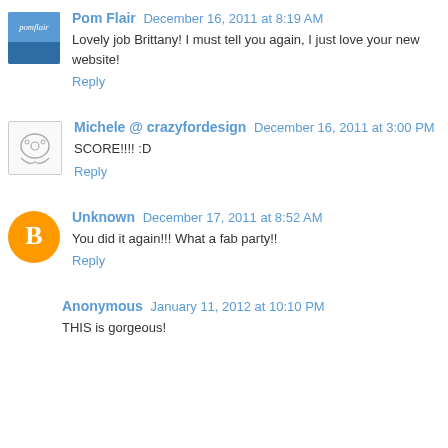Pom Flair December 16, 2011 at 8:19 AM
Lovely job Brittany! I must tell you again, I just love your new website!
Reply
Michele @ crazyfordesign December 16, 2011 at 3:00 PM
SCORE!!!! :D
Reply
Unknown December 17, 2011 at 8:52 AM
You did it again!!! What a fab party!!
Reply
Anonymous January 11, 2012 at 10:10 PM
THIS is gorgeous!